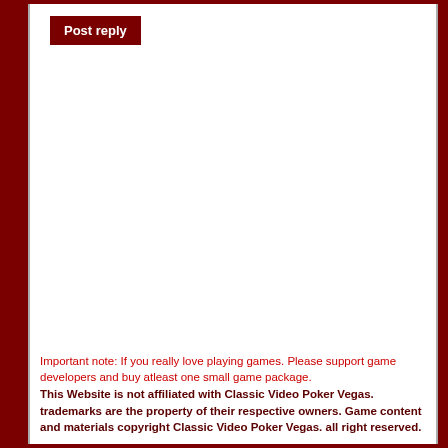[Figure (other): Post reply button — dark red rectangular button with white bold text 'Post reply']
Important note: If you really love playing games. Please support game developers and buy atleast one small game package. This Website is not affiliated with Classic Video Poker Vegas. trademarks are the property of their respective owners. Game content and materials copyright Classic Video Poker Vegas. all right reserved.